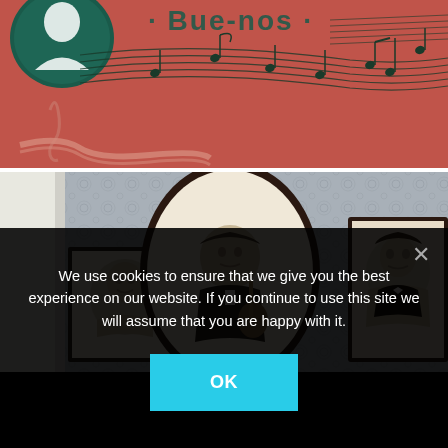[Figure (photo): Red/pink decorative mural or poster with musical notes, staff lines, silhouette portrait in circular frame, and partial text reading 'Bue-nos' (Buenos Aires). Vintage tango or music themed artwork.]
[Figure (photo): Room interior with patterned wallpaper displaying framed black-and-white portrait photographs. An oval dark-framed portrait of a man with a guitar in center, a rectangular framed portrait on left, and a larger rectangular framed portrait on right. Vintage tango museum or memorial room.]
We use cookies to ensure that we give you the best experience on our website. If you continue to use this site we will assume that you are happy with it.